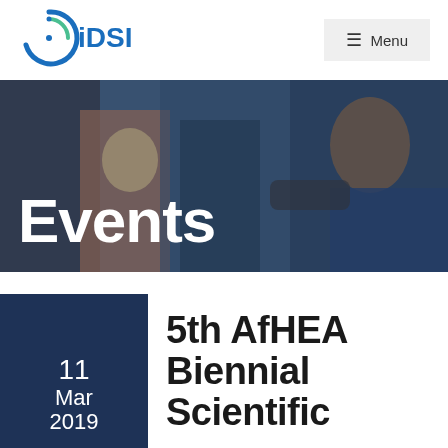[Figure (logo): iDSI logo — circular blue/green arc design with 'iDSI' text]
☰  Menu
[Figure (photo): Banner photo of people at a networking/conference event with 'Events' text overlay in white bold font]
Events
11
Mar
2019
5th AfHEA Biennial Scientific